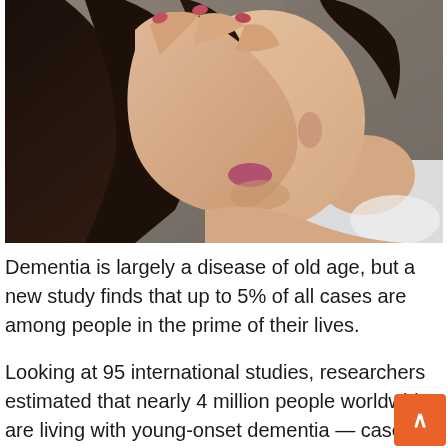[Figure (photo): A young woman with dark hair covering her face with her hand, appearing distressed, wearing a white t-shirt, seated, with a blurred background.]
Dementia is largely a disease of old age, but a new study finds that up to 5% of all cases are among people in the prime of their lives.
Looking at 95 international studies, researchers estimated that nearly 4 million people worldwide are living with young-onset dementia — cases that